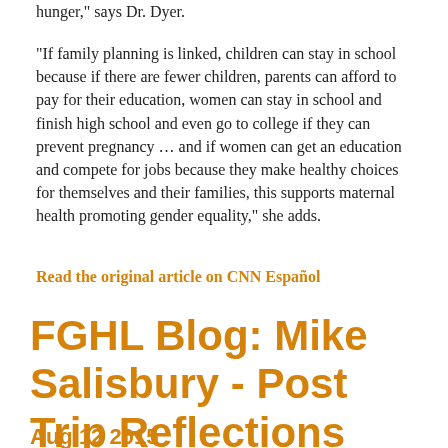hunger," says Dr. Dyer.
"If family planning is linked, children can stay in school because if there are fewer children, parents can afford to pay for their education, women can stay in school and finish high school and even go to college if they can prevent pregnancy ... and if women can get an education and compete for jobs because they make healthy choices for themselves and their families, this supports maternal health promoting gender equality," she adds.
Read the original article on CNN Español
FGHL Blog: Mike Salisbury - Post Trip Reflections
Aug 12 2015